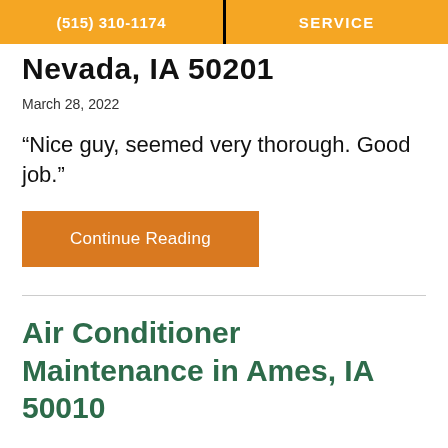(515) 310-1174  |  SERVICE
Nevada, IA 50201
March 28, 2022
“Nice guy, seemed very thorough. Good job.”
Continue Reading
Air Conditioner Maintenance in Ames, IA 50010